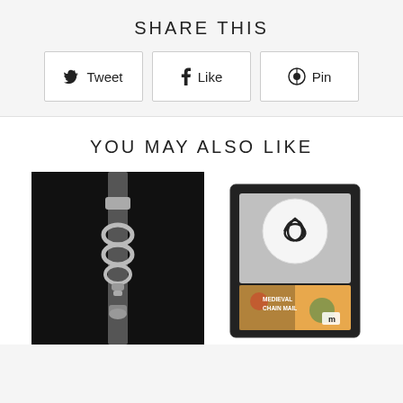SHARE THIS
Tweet  Like  Pin
YOU MAY ALSO LIKE
[Figure (photo): Silver chain-link bracelet on black leather strap against black background]
[Figure (photo): Black box containing a white button badge with knot emblem and a colorful card labeled MEDIEVAL CHAIN MAIL]